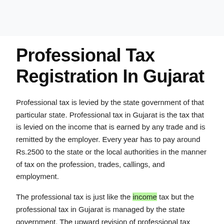Professional Tax Registration In Gujarat
Professional tax is levied by the state government of that particular state. Professional tax in Gujarat is the tax that is levied on the income that is earned by any trade and is remitted by the employer. Every year has to pay around Rs.2500 to the state or the local authorities in the manner of tax on the profession, trades, callings, and employment.
The professional tax is just like the income tax but the professional tax in Gujarat is managed by the state government. The upward revision of professional tax Rs.2500 has allowed the government to raise the additional